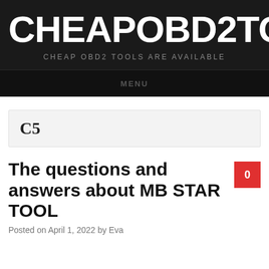CHEAPOBD2TOOL.COM
CHEAP OBD2 TOOLS ARE AVAILABLE
MENU
C5
The questions and answers about MB STAR TOOL
Posted on April 1, 2022 by Eva